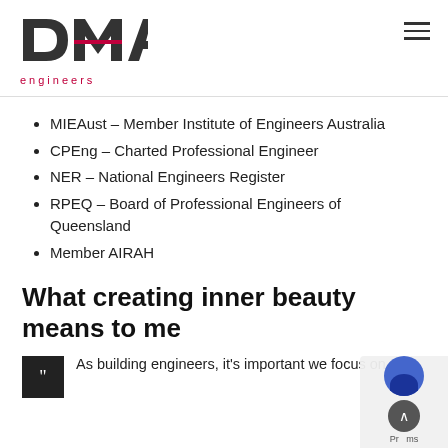DMA engineers
MIEAust – Member Institute of Engineers Australia
CPEng – Charted Professional Engineer
NER – National Engineers Register
RPEQ – Board of Professional Engineers of Queensland
Member AIRAH
What creating inner beauty means to me
As building engineers, it's important we focus on